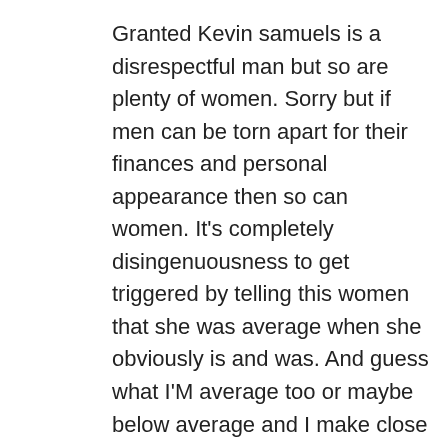Granted Kevin samuels is a disrespectful man but so are plenty of women. Sorry but if men can be torn apart for their finances and personal appearance then so can women. It's completely disingenuousness to get triggered by telling this women that she was average when she obviously is and was. And guess what I'M average too or maybe below average and I make close to 200k a year. But guess what I'm only 5'2 ( but not bad looking because I get told by coworkers all the time, I'm a nurse so I work around a lot of women). And don't you think this gets thrown in my face a lot? Yup. And guess what I take that criticism like a grown person. And to add to this only broke men really care how much money a women